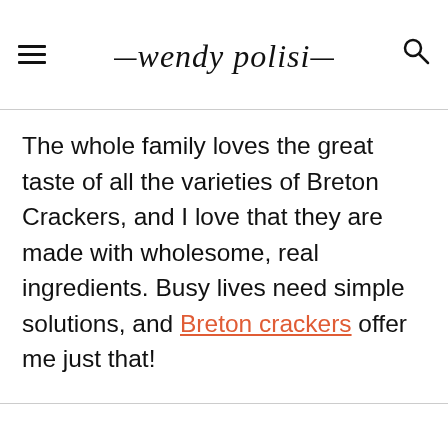wendy polisi
The whole family loves the great taste of all the varieties of Breton Crackers, and I love that they are made with wholesome, real ingredients. Busy lives need simple solutions, and Breton crackers offer me just that!